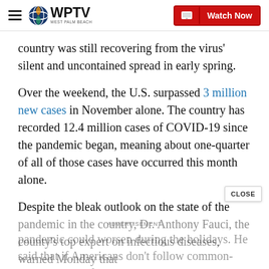WPTV West Palm Beach — Watch Now
country was still recovering from the virus' silent and uncontained spread in early spring.
Over the weekend, the U.S. surpassed 3 million new cases in November alone. The country has recorded 12.4 million cases of COVID-19 since the pandemic began, meaning about one-quarter of all of those cases have occurred this month alone.
Despite the bleak outlook on the state of the pandemic in the country, Dr. Anthony Fauci, the county's top expert on infectious diseases, warned Monday that
pandemic could worsen during the holidays. He said that if Americans don't follow common-sense public safety